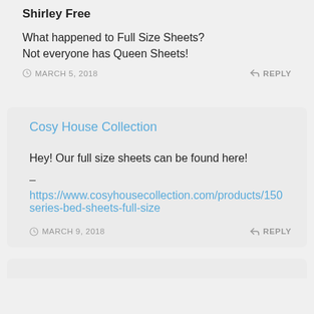Shirley Free
What happened to Full Size Sheets?
Not everyone has Queen Sheets!
MARCH 5, 2018   REPLY
Cosy House Collection
Hey! Our full size sheets can be found here!
–
https://www.cosyhousecollection.com/products/150-series-bed-sheets-full-size
MARCH 9, 2018   REPLY